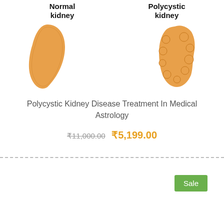[Figure (illustration): Two kidney illustrations side by side — a normal kidney on the left and a polycystic kidney on the right, both in orange/tan color]
Polycystic Kidney Disease Treatment In Medical Astrology
₹11,000.00 ₹5,199.00
Sale